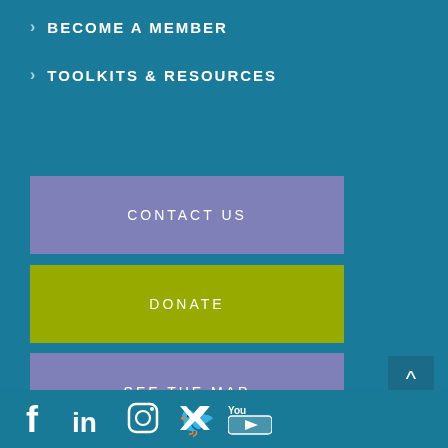› BECOME A MEMBER
› TOOLKITS & RESOURCES
CONTACT US
DONATE
SEE THE MAP
[Figure (other): Social media icons: Facebook, LinkedIn, Instagram, Twitter, YouTube]